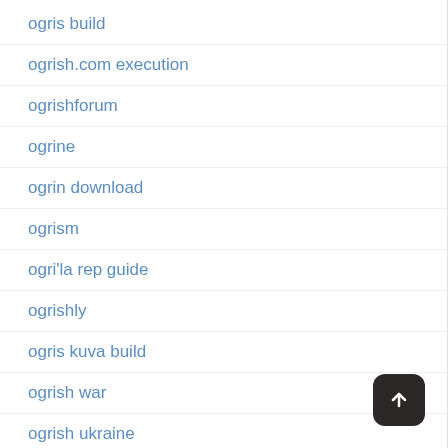ogris build
ogrish.com execution
ogrishforum
ogrine
ogrin download
ogrism
ogri'la rep guide
ogrishly
ogris kuva build
ogrish war
ogrish ukraine